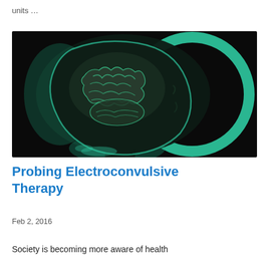units …
[Figure (illustration): Dark illustration of a human head silhouette in profile with a glowing teal/green brain visible inside, on a black background with a teal circular outline around the head.]
Probing Electroconvulsive Therapy
Feb 2, 2016
Society is becoming more aware of health